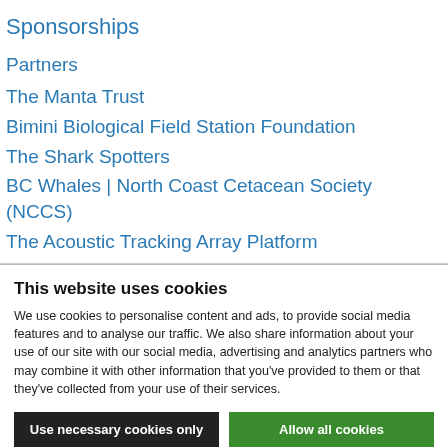Sponsorships
Partners
The Manta Trust
Bimini Biological Field Station Foundation
The Shark Spotters
BC Whales | North Coast Cetacean Society (NCCS)
The Acoustic Tracking Array Platform
This website uses cookies
We use cookies to personalise content and ads, to provide social media features and to analyse our traffic. We also share information about your use of our site with our social media, advertising and analytics partners who may combine it with other information that you've provided to them or that they've collected from your use of their services.
Use necessary cookies only
Allow all cookies
Show details